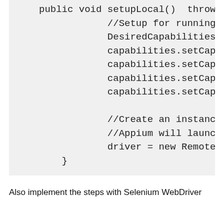public void setupLocal()  throws
    //Setup for running Appiu
    DesiredCapabilities capab
    capabilities.setCapabilit
    capabilities.setCapabilit
    capabilities.setCapabilit
    capabilities.setCapabilit

    //Create an instance of R
    //Appium will launch the
    driver = new RemoteWebDri
}
Also implement the steps with Selenium WebDriver